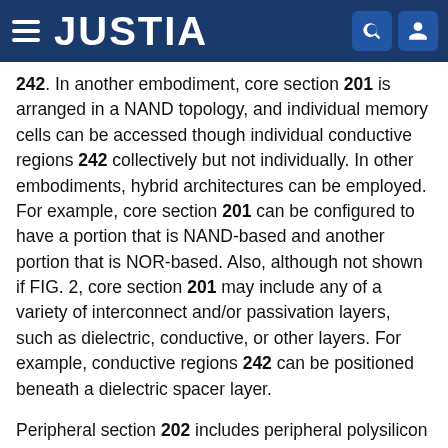JUSTIA
242. In another embodiment, core section 201 is arranged in a NAND topology, and individual memory cells can be accessed though individual conductive regions 242 collectively but not individually. In other embodiments, hybrid architectures can be employed. For example, core section 201 can be configured to have a portion that is NAND-based and another portion that is NOR-based. Also, although not shown if FIG. 2, core section 201 may include any of a variety of interconnect and/or passivation layers, such as dielectric, conductive, or other layers. For example, conductive regions 242 can be positioned beneath a dielectric spacer layer.
Peripheral section 202 includes peripheral polysilicon lines 251, conductive regions 252, and interconnects 253. Portions of peripheral polysilicon lines 251 are coupled to individual peripheral devices (not shown in